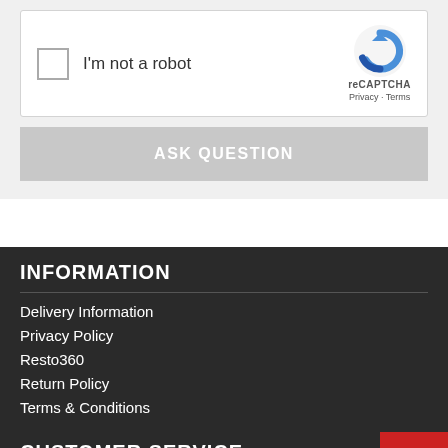[Figure (screenshot): reCAPTCHA widget with checkbox labeled I'm not a robot, Google reCAPTCHA logo, Privacy and Terms links]
ASK QUESTION
INFORMATION
Delivery Information
Privacy Policy
Resto360
Return Policy
Terms & Conditions
CUSTOMER SERVICE
Contact Us